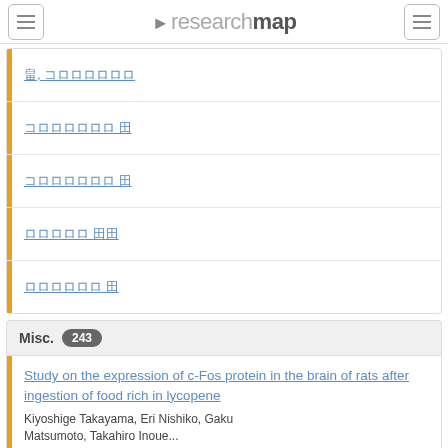researchmap
[Japanese text link 1]
[Japanese text link 2]
[Japanese text link 3]
[Japanese text link 4]
[Japanese text link 5]
Misc. 243
Study on the expression of c-Fos protein in the brain of rats after ingestion of food rich in lycopene
Kiyoshige Takayama, Eri Nishiko, Gaku Matsumoto, Takahiro Inoue...